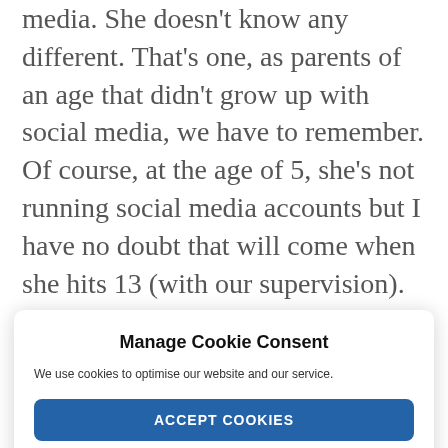media. She doesn't know any different. That's one, as parents of an age that didn't grow up with social media, we have to remember. Of course, at the age of 5, she's not running social media accounts but I have no doubt that will come when she hits 13 (with our supervision). She shows a lot of interest in my work and accounts
Manage Cookie Consent
We use cookies to optimise our website and our service.
ACCEPT COOKIES
DENY
VIEW PREFERENCES
Cookie